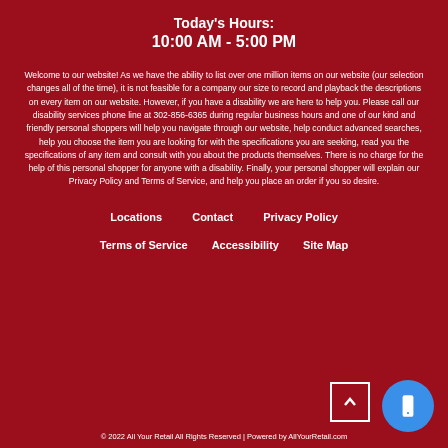Today's Hours:
10:00 AM - 5:00 PM
Welcome to our website! As we have the ability to list over one million items on our website (our selection changes all of the time), it is not feasible for a company our size to record and playback the descriptions on every item on our website. However, if you have a disability we are here to help you. Please call our disability services phone line at 302-856-6365 during regular business hours and one of our kind and friendly personal shoppers will help you navigate through our website, help conduct advanced searches, help you choose the item you are looking for with the specifications you are seeking, read you the specifications of any item and consult with you about the products themselves. There is no charge for the help of this personal shopper for anyone with a disability. Finally, your personal shopper will explain our Privacy Policy and Terms of Service, and help you place an order if you so desire.
Locations
Contact
Privacy Policy
Terms of Service
Accessibility
Site Map
© 2022 All Your Retail All Rights Reserved | Powered by AllYourRetail.com